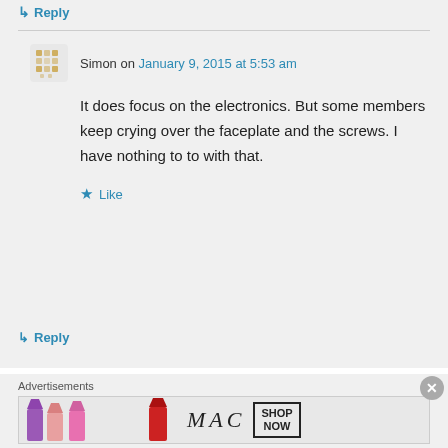↳ Reply
Simon on January 9, 2015 at 5:53 am
It does focus on the electronics. But some members keep crying over the faceplate and the screws. I have nothing to to with that.
★ Like
↳ Reply
Advertisements